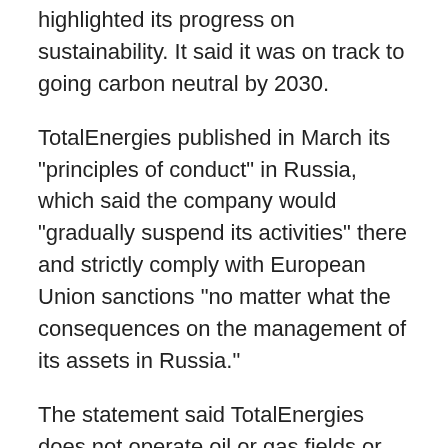highlighted its progress on sustainability. It said it was on track to going carbon neutral by 2030.
TotalEnergies published in March its "principles of conduct" in Russia, which said the company would "gradually suspend its activities" there and strictly comply with European Union sanctions "no matter what the consequences on the management of its assets in Russia."
The statement said TotalEnergies does not operate oil or gas fields or liquefied natural gas plants in Russia, but has numerous stakes in various Russian firms. It said the company continues supplying Europe with liquefied natural gas from a plant in Russia's Yamal Peninsula to honour long-term contracts "as